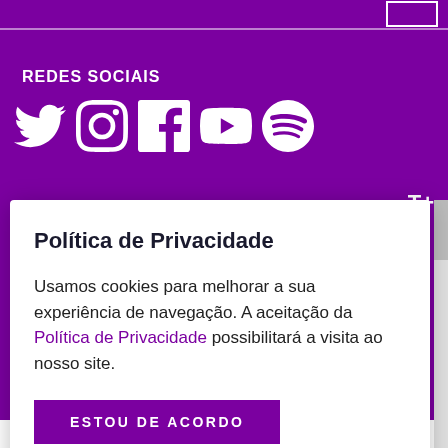REDES SOCIAIS
[Figure (illustration): Social media icons: Twitter, Instagram, Facebook, YouTube, Spotify in white on purple background]
T+
FUNDAÇÃO
Política de Privacidade
Usamos cookies para melhorar a sua experiência de navegação. A aceitação da Política de Privacidade possibilitará a visita ao nosso site.
ESTOU DE ACORDO